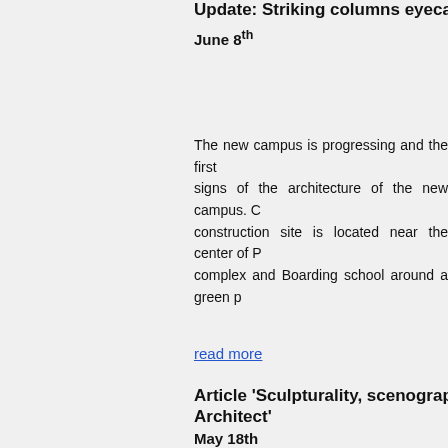Update: Striking columns eyecatcher…
June 8th
The new campus is progressing and the first signs of the architecture of the new campus. C… construction site is located near the center of P… complex and Boarding school around a green p…
read more
Article 'Sculpturality, scenography and… Architect'
May 18th